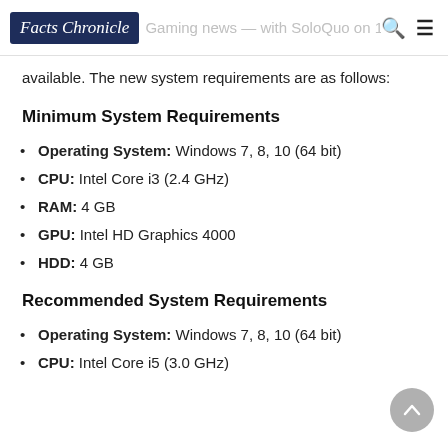Facts Chronicle — Gaming news — with SoloQuo on 1Squad
available. The new system requirements are as follows:
Minimum System Requirements
Operating System: Windows 7, 8, 10 (64 bit)
CPU: Intel Core i3 (2.4 GHz)
RAM: 4 GB
GPU: Intel HD Graphics 4000
HDD: 4 GB
Recommended System Requirements
Operating System: Windows 7, 8, 10 (64 bit)
CPU: Intel Core i5 (3.0 GHz)